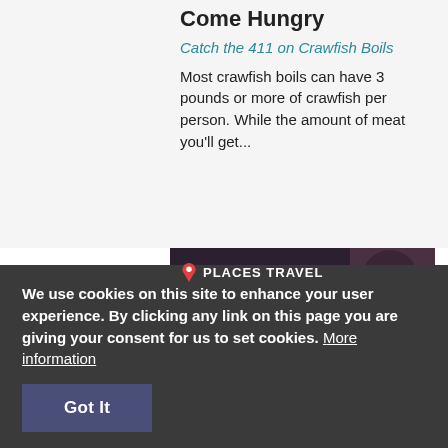Come Hungry
Catch the 411 on Crawfish Boils
Most crawfish boils can have 3 pounds or more of crawfish per person. While the amount of meat you'll get...
[Figure (photo): Photo of hands holding a bowl of crawfish boil with corn, with 'PLACES TRAVEL' logo overlay and 'Read More →' text]
We use cookies on this site to enhance your user experience. By clicking any link on this page you are giving your consent for us to set cookies. More information
Got It